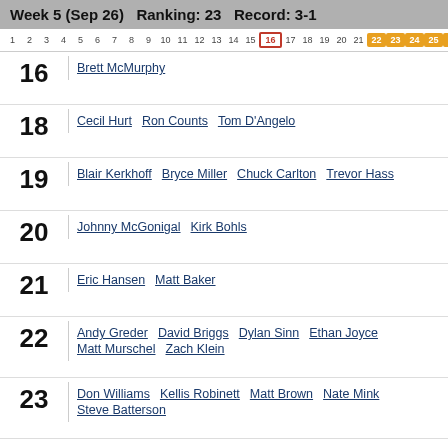Week 5 (Sep 26)   Ranking: 23   Record: 3-1
1 2 3 4 5 6 7 8 9 10 11 12 13 14 15 [16] 17 18 19 20 21 22 23 24 25 NR
16  Brett McMurphy
18  Cecil Hurt   Ron Counts   Tom D'Angelo
19  Blair Kerkhoff   Bryce Miller   Chuck Carlton   Trevor Hass
20  Johnny McGonigal   Kirk Bohls
21  Eric Hansen   Matt Baker
22  Andy Greder   David Briggs   Dylan Sinn   Ethan Joyce   Matt Murschel   Zach Klein
23  Don Williams   Kellis Robinett   Matt Brown   Nate Mink   Steve Batterson